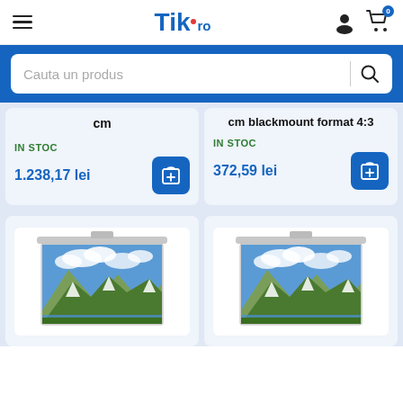Tik.ro — hamburger menu, user icon, cart icon (0 items)
Cauta un produs
cm
cm blackmount format 4:3
IN STOC
1.238,17 lei
IN STOC
372,59 lei
[Figure (photo): Projector screen showing mountain landscape with clouds — left product card]
[Figure (photo): Projector screen showing mountain landscape with clouds — right product card]